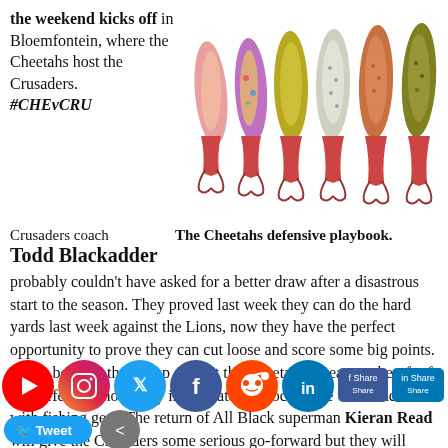the weekend kicks off in Bloemfontein, where the Cheetahs host the Crusaders. #CHEvCRU
[Figure (photo): Six colorful fishing lures with treble hooks arranged vertically side by side]
The Cheetahs defensive playbook.
Crusaders coach Todd Blackadder probably couldn't have asked for a better draw after a disastrous start to the season. They proved last week they can do the hard yards last week against the Lions, now they have the perfect opportunity to prove they can cut loose and score some big points. That's because they're up against the Cheetahs, a team so bereft of any defensive nous they immediately associate the word 'tackle' with fishing gear. The return of All Black superman Kieran Read will give the Crusaders some serious go-forward but they will need to be on their guard against the Cheetahs, who, despite conceding ... his one could be the shoot-out of the week but
[Figure (screenshot): Social media sharing bar with YouTube, Instagram, Twitter, Facebook, Reddit, LinkedIn icons and Share buttons]